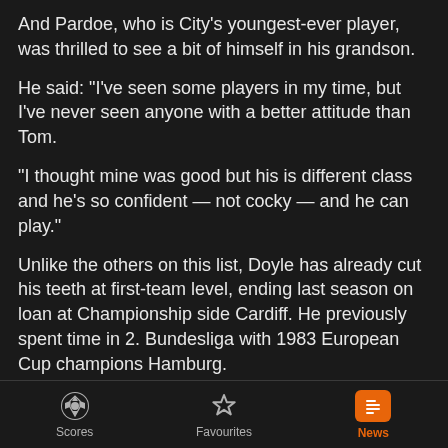And Pardoe, who is City's youngest-ever player, was thrilled to see a bit of himself in his grandson.
He said: "I've seen some players in my time, but I've never seen anyone with a better attitude than Tom.
"I thought mine was good but his is different class and he's so confident — not cocky — and he can play."
Unlike the others on this list, Doyle has already cut his teeth at first-team level, ending last season on loan at Championship side Cardiff. He previously spent time in 2. Bundesliga with 1983 European Cup champions Hamburg.
Read more: City begin Premier League title defence at West Ham
Scores   Favourites   News